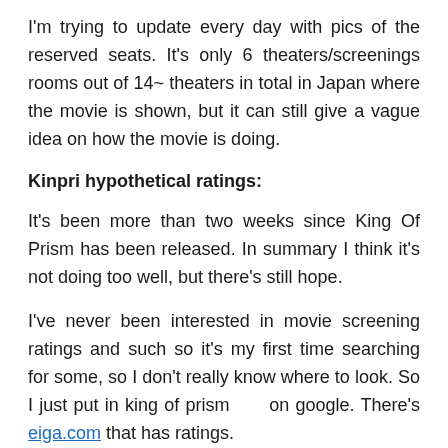I'm trying to update every day with pics of the reserved seats. It's only 6 theaters/screenings rooms out of 14~ theaters in total in Japan where the movie is shown, but it can still give a vague idea on how the movie is doing.
Kinpri hypothetical ratings:
It's been more than two weeks since King Of Prism has been released. In summary I think it's not doing too well, but there's still hope.
I've never been interested in movie screening ratings and such so it's my first time searching for some, so I don't really know where to look. So I just put in king of prism　　on google. There's eiga.com that has ratings.
If I got it right, the rankings on this site are how much the movie got accessed on the site, not how many people went to see it. On the site, the movie isn't even in the top 100 of